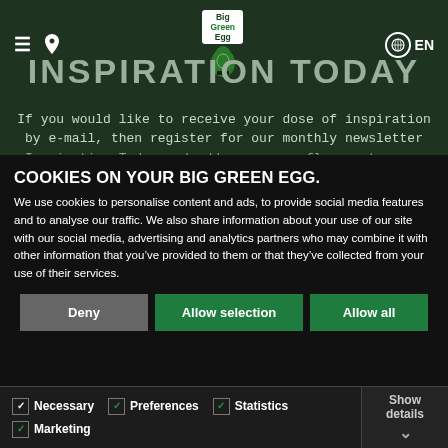[Figure (logo): Big Green Egg website screenshot header with logo, hamburger menu, location icon, and EN language selector on dark green background]
INSPIRATION TODAY
If you would like to receive your dose of inspiration by e-mail, then register for our monthly newsletter Inspiration Today and add some more flavour to your
COOKIES ON YOUR BIG GREEN EGG.
We use cookies to personalise content and ads, to provide social media features and to analyse our traffic. We also share information about your use of our site with our social media, advertising and analytics partners who may combine it with other information that you've provided to them or that they've collected from your use of their services.
Deny | Allow selection | Allow all
Necessary | Preferences | Statistics | Marketing | Show details